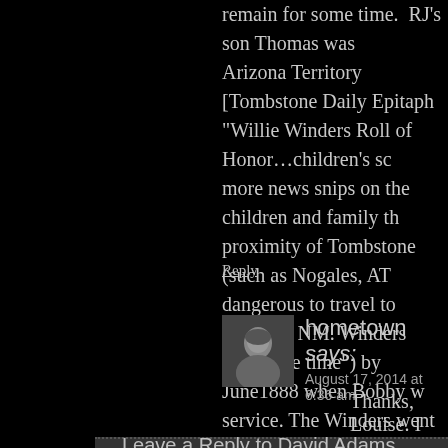remain for some time. RJ's son Thomas was Arizona Territory [Tombstone Daily Epitaph "Willie Winders Roll of Honor…children's sc more news snips on the children and family th proximity of Tombstone (such as Nogales, AT dangerous to travel to Nogales, NM. Winders "for some time") by June1888 when Bobby w service. The Winders went to Nogales in A.T. Territory or in old Mexico. Just a thought.
Reply
hometown says:
August 17, 2014 at 6:36 am
[Figure (photo): Avatar photo of commenter 'hometown' — grayscale portrait of a man]
Thanks, Louise. I have made that corre
Leave a Reply to David Adams